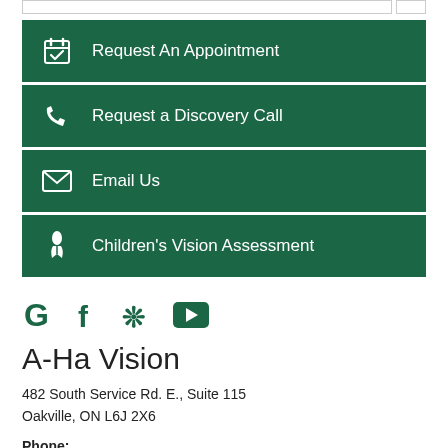Request An Appointment
Request a Discovery Call
Email Us
Children's Vision Assessment
[Figure (other): Social media icons: Google, Facebook, Yelp, YouTube in green]
A-Ha Vision
482 South Service Rd. E., Suite 115
Oakville, ON L6J 2X6
Phone:
905-582-4800
Monday:	Closed